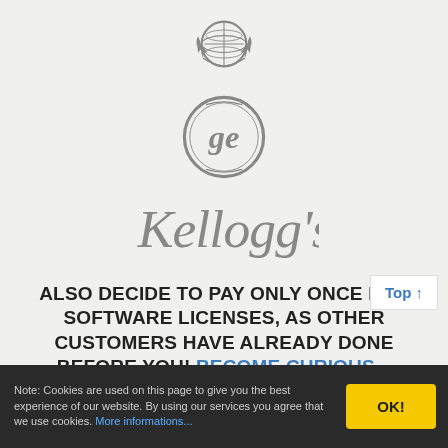[Figure (logo): UN (United Nations) emblem logo in gray]
[Figure (logo): GE (General Electric) circular logo in gray]
[Figure (logo): Kellogg's script logo in gray]
ALSO DECIDE TO PAY ONLY ONCE FOR SOFTWARE LICENSES, AS OTHER CUSTOMERS HAVE ALREADY DONE BEFORE YOU! BECOME CURIOUS...
Note: Cookies are used on this page to give you the best experience of our website. By using our services you agree that we use cookies. More informations...